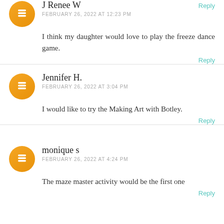Reply
J Renee W
FEBRUARY 26, 2022 AT 12:23 PM
I think my daughter would love to play the freeze dance game.
Reply
Jennifer H.
FEBRUARY 26, 2022 AT 3:04 PM
I would like to try the Making Art with Botley.
Reply
monique s
FEBRUARY 26, 2022 AT 4:24 PM
The maze master activity would be the first one
Reply